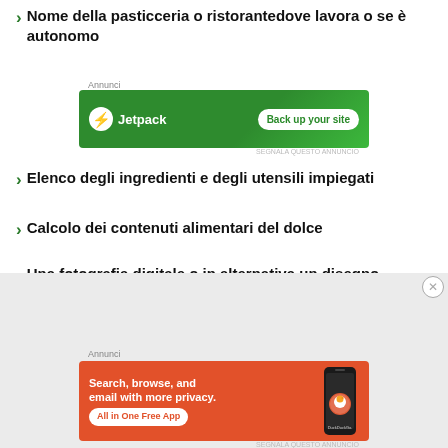Nome della pasticceria o ristorantedove lavora o se è autonomo
[Figure (other): Jetpack advertisement banner with green background, Jetpack logo and 'Back up your site' button]
Elenco degli ingredienti e degli utensili impiegati
Calcolo dei contenuti alimentari del dolce
Una fotografia digitale o in alternativa un disegno didascalico
[Figure (other): DuckDuckGo advertisement banner with orange background, 'Search, browse, and email with more privacy. All in One Free App' text and phone mockup]